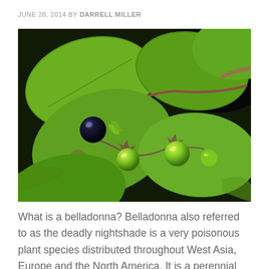JUNE 28, 2014 BY DARRELL MILLER
[Figure (photo): Close-up photograph of belladonna (deadly nightshade) plant showing green and black berries with green leaves against a dark background]
What is a belladonna? Belladonna also referred to as the deadly nightshade is a very poisonous plant species distributed throughout West Asia, Europe and the North America. It is a perennial plant with a stem